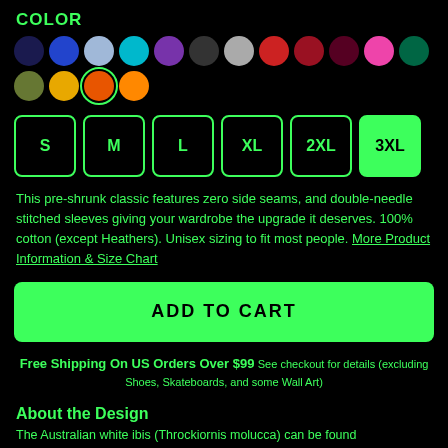COLOR
[Figure (other): Color swatches: navy, blue, light blue, teal/cyan, purple, dark gray/charcoal, light gray, red, dark red, dark maroon, pink, dark green, olive, gold/yellow, orange (selected/active), orange]
[Figure (other): Size selector buttons: S, M, L, XL, 2XL, 3XL (3XL is active/selected with green background)]
This pre-shrunk classic features zero side seams, and double-needle stitched sleeves giving your wardrobe the upgrade it deserves. 100% cotton (except Heathers). Unisex sizing to fit most people. More Product Information & Size Chart
[Figure (other): ADD TO CART button, green background with black bold text]
Free Shipping On US Orders Over $99 See checkout for details (excluding Shoes, Skateboards, and some Wall Art)
About the Design
The Australian white ibis (Throckiornis molucca) can be found